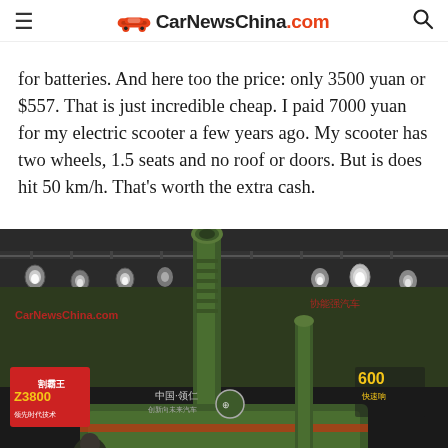CarNewsChinacom
for batteries. And here too the price: only 3500 yuan or $557. That is just incredible cheap. I paid 7000 yuan for my electric scooter a few years ago. My scooter has two wheels, 1.5 seats and no roof or doors. But is does hit 50 km/h. That’s worth the extra cash.
[Figure (photo): Photo of a green military-style vehicle with a large cannon barrel, displayed at what appears to be an auto show or exhibition. A person is visible in the lower portion. Red and green banners and exhibition lighting are visible in the background. Chinese text and logos are visible on signage.]